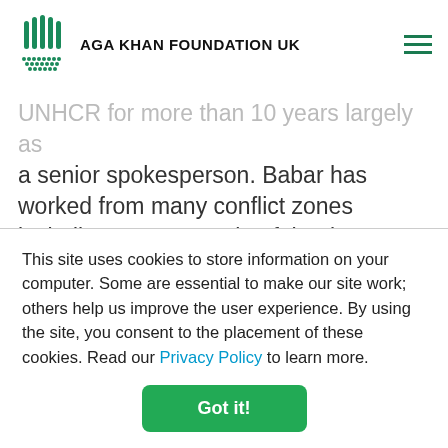AGA KHAN FOUNDATION UK
Babar Baloch is a Senior Spokesperson for UNHCR. Babar has worked for UNHCR for more than 10 years largely as a senior spokesperson. Babar has worked from many conflict zones including most recently Afghanistan.
Emma Cherniavsky is the founding CEO of UK for UNHCR, the UN Refugee
This site uses cookies to store information on your computer. Some are essential to make our site work; others help us improve the user experience. By using the site, you consent to the placement of these cookies. Read our Privacy Policy to learn more.